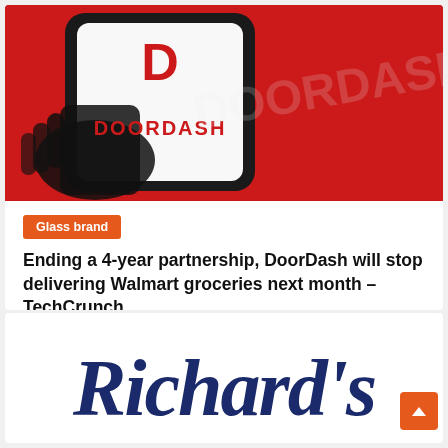[Figure (photo): DoorDash app logo on a smartphone screen against a red background, with a hand holding the phone]
Glass brand
Ending a 4-year partnership, DoorDash will stop delivering Walmart groceries next month – TechCrunch
Luz W. German   August 19, 2022
[Figure (logo): Richard's logo in dark navy blue cursive script on white background]